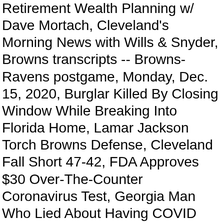Retirement Wealth Planning w/ Dave Mortach, Cleveland's Morning News with Wills & Snyder, Browns transcripts -- Browns-Ravens postgame, Monday, Dec. 15, 2020, Burglar Killed By Closing Window While Breaking Into Florida Home, Lamar Jackson Torch Browns Defense, Cleveland Fall Short 47-42, FDA Approves $30 Over-The-Counter Coronavirus Test, Georgia Man Who Lied About Having COVID Pleads Guilty To Federal Crimes, Santaâs sharing his favorite iHeartRadio podcasts to put you in the Christmas Spirit, Terry Pluto, Cleveland Indians changing their name isnât news, but it makes winter harder for fans â Terry Pluto, Cleveland MetroHealth receives 975 doses of Pfizerâs COVID-19 vaccine for frontline employees (photos), Paul McCartney tops this weekâs new album releases, Akron Childrenâs Hospital expands into Lorain County with two pediatric centers and plans for more, Hereâs what RTA riders can expect from redesigned bus system, Rock Hall, Tower City, Cleveland Natural History Museum plans among $171 million in projects funded in Ohio capital budget bill, Cleveland Cavaliersâ